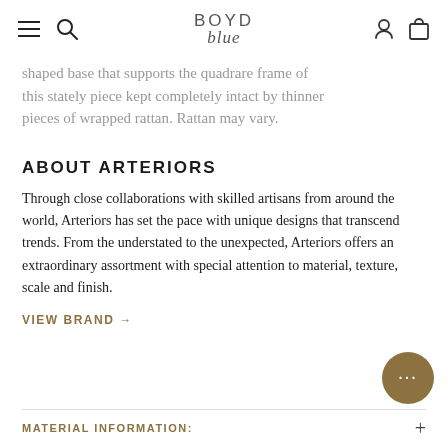BOYD blue
shaped base that supports the quadrare frame of this stately piece kept completely intact by thinner pieces of wrapped rattan. Rattan may vary.
ABOUT ARTERIORS
Through close collaborations with skilled artisans from around the world, Arteriors has set the pace with unique designs that transcend trends. From the understated to the unexpected, Arteriors offers an extraordinary assortment with special attention to material, texture, scale and finish.
VIEW BRAND →
MATERIAL INFORMATION: